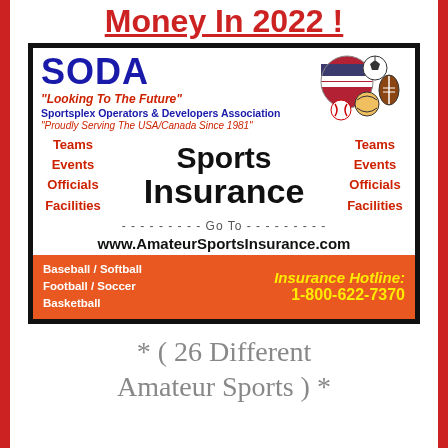Money In 2022 !
[Figure (infographic): SODA (Sportsplex Operators & Developers Association) advertisement for Sports Insurance featuring logo, sports icons, website www.AmateurSportsInsurance.com, and Insurance Hotline 1-800-622-7370]
* ( 26 Different Amateur Sports ) *